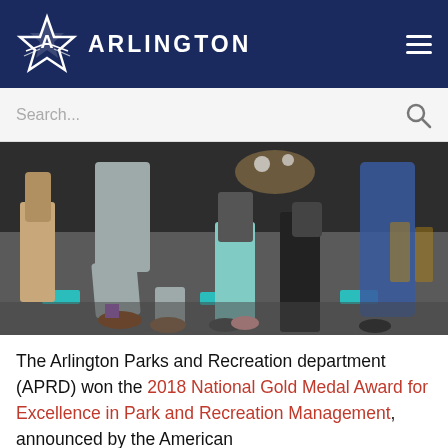ARLINGTON
[Figure (photo): Group of people on a stage at an awards ceremony, with one person kneeling in the foreground wearing a gray suit and brown shoes with colorful socks, others standing around holding flowers or awards, teal award plaques visible on the floor.]
The Arlington Parks and Recreation department (APRD) won the 2018 National Gold Medal Award for Excellence in Park and Recreation Management, announced by the American